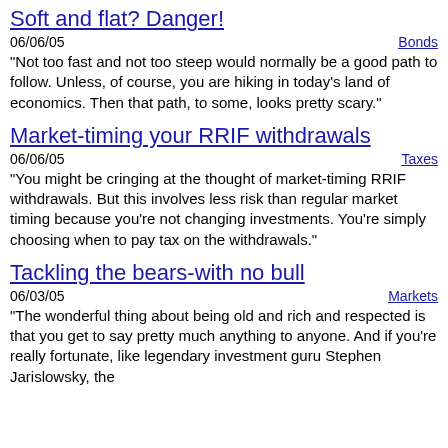Soft and flat? Danger!
06/06/05	Bonds
"Not too fast and not too steep would normally be a good path to follow. Unless, of course, you are hiking in today's land of economics. Then that path, to some, looks pretty scary."
Market-timing your RRIF withdrawals
06/06/05	Taxes
"You might be cringing at the thought of market-timing RRIF withdrawals. But this involves less risk than regular market timing because you're not changing investments. You're simply choosing when to pay tax on the withdrawals."
Tackling the bears-with no bull
06/03/05	Markets
"The wonderful thing about being old and rich and respected is that you get to say pretty much anything to anyone. And if you're really fortunate, like legendary investment guru Stephen Jarislowsky, the